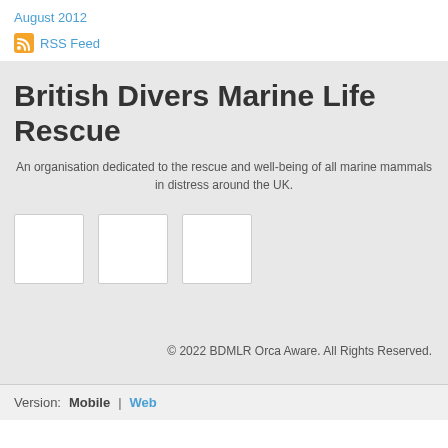August 2012
RSS Feed
British Divers Marine Life Rescue
An organisation dedicated to the rescue and well-being of all marine mammals in distress around the UK.
[Figure (other): Three empty white boxes/placeholders in a row]
© 2022 BDMLR Orca Aware. All Rights Reserved.
Version: Mobile | Web